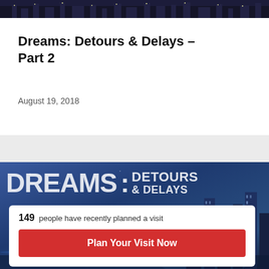[Figure (photo): City skyline at night — top image strip]
Dreams: Detours & Delays – Part 2
August 19, 2018
[Figure (photo): Dreams: Detours & Delays promotional image with city skyline at night, large text overlay reading DREAMS: DETOURS & DELAYS, and a white card overlay showing '149 people have recently planned a visit' and a red 'Plan Your Visit Now' button]